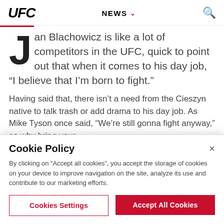UFC | NEWS
Jan Blachowicz is like a lot of competitors in the UFC, quick to point out that when it comes to his day job, “I believe that I’m born to fight.”
Having said that, there isn’t a need from the Cieszyn native to talk trash or add drama to his day job. As Mike Tyson once said, “We’re still gonna fight anyway,” so why bring your
Cookie Policy
By clicking on “Accept all cookies”, you accept the storage of cookies on your device to improve navigation on the site, analyze its use and contribute to our marketing efforts.
Cookies Settings
Accept All Cookies